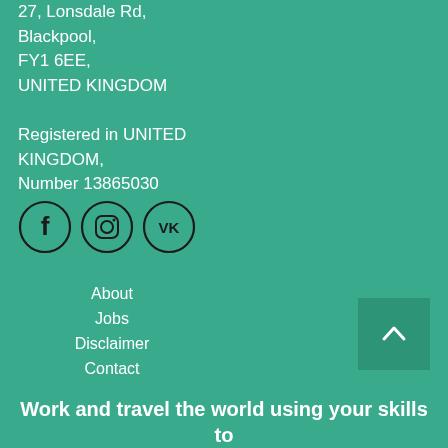27, Lonsdale Rd,
Blackpool,
FY1 6EE,
UNITED KINGDOM

Registered in UNITED KINGDOM,
Number 13865030
[Figure (illustration): Three circular social media icons: Facebook (f), Instagram (camera), and VK (VK logo), outlined in dark color on teal background]
About
Jobs
Disclaimer
Contact
[Figure (illustration): Dark teal square scroll-to-top button with an upward chevron/arrow icon in white]
Work and travel the world using your skills to